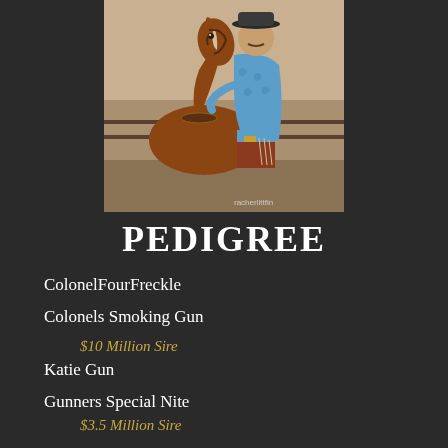[Figure (photo): Man in blue paisley shirt and cowboy hat posing with a chestnut horse in an indoor arena. Photo credit: rachellittfin]
PEDIGREE
ColonelFourFreckle
Colonels Smoking Gun
$10 Million Sire
Katie Gun
Gunners Special Nite
$3.5 Million Sire